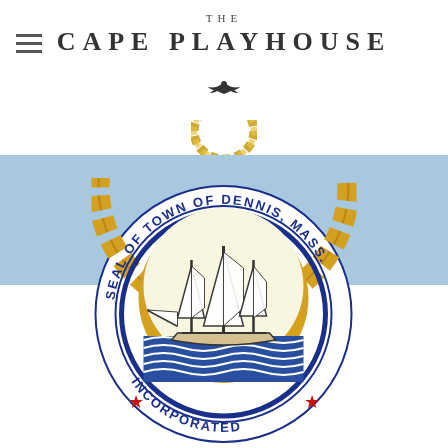THE CAPE PLAYHOUSE
[Figure (logo): Town of Dennis, Massachusetts official seal showing a sailing ship inside a circular chain border with text SEAL OF TOWN OF DENNIS, MASS. and INCORPORATED]
[Figure (logo): The Cape Playhouse logo with bird/eagle emblem and rope wreath]